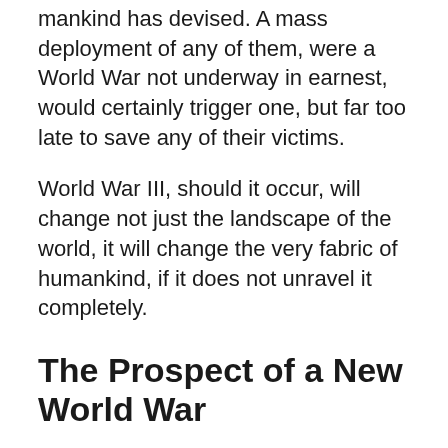mankind has devised. A mass deployment of any of them, were a World War not underway in earnest, would certainly trigger one, but far too late to save any of their victims.
World War III, should it occur, will change not just the landscape of the world, it will change the very fabric of humankind, if it does not unravel it completely.
The Prospect of a New World War
The complexities and intricacies of jockeying national interests are so vast it is impossible to calculate them all and print out a nice, round answer. Add to that the impossibly